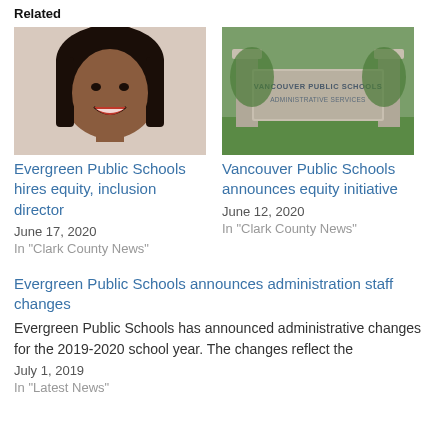Related
[Figure (photo): Headshot of a smiling woman with a dark bob haircut against a light background]
Evergreen Public Schools hires equity, inclusion director
June 17, 2020
In "Clark County News"
[Figure (photo): Sign reading Vancouver Public Schools Administrative Services on a stone pillar with greenery in the background]
Vancouver Public Schools announces equity initiative
June 12, 2020
In "Clark County News"
Evergreen Public Schools announces administration staff changes
Evergreen Public Schools has announced administrative changes for the 2019-2020 school year. The changes reflect the
July 1, 2019
In "Latest News"